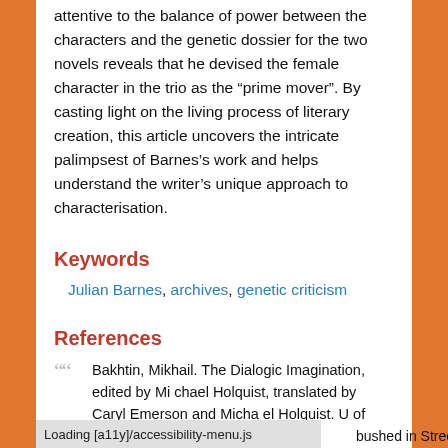attentive to the balance of power between the characters and the genetic dossier for the two novels reveals that he devised the female character in the trio as the “prime mover”. By casting light on the living process of literary creation, this article uncovers the intricate palimpsest of Barnes’s work and helps understand the writer’s unique approach to characterisation.
Keywords
Julian Barnes, archives, genetic criticism
References
Bakhtin, Mikhail. The Dialogic Imagination, edited by Michael Holquist, translated by Caryl Emerson and Michael Holquist. U of Texas P, 1981.
Loading [a11y]/accessibility-menu.js
bushed in Streets of the Snea